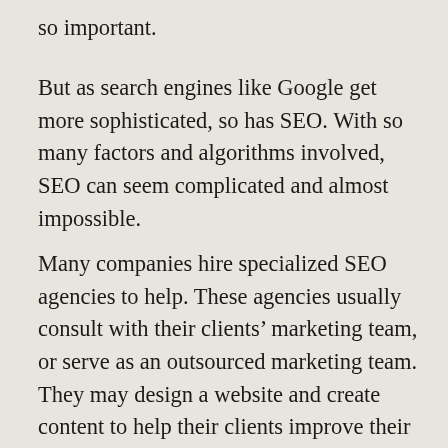so important.
But as search engines like Google get more sophisticated, so has SEO. With so many factors and algorithms involved, SEO can seem complicated and almost impossible.
Many companies hire specialized SEO agencies to help. These agencies usually consult with their clients' marketing team, or serve as an outsourced marketing team. They may design a website and create content to help their clients improve their search engine rankings, web traffic, and–eventually–their revenue.